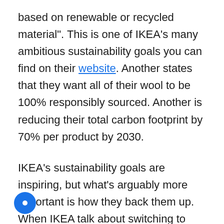based on renewable or recycled material". This is one of IKEA's many ambitious sustainability goals you can find on their website. Another states that they want all of their wool to be 100% responsibly sourced. Another is reducing their total carbon footprint by 70% per product by 2030.
IKEA's sustainability goals are inspiring, but what's arguably more important is how they back them up. When IKEA talk about switching to more sustainable plastics, they offer evidence that they really are doing it. For example, 85% of one their popular plastic bags is now made from renewable materials. And they phased out all single-use plastics from one product range in 2020. It's these specific facts that turn their bold claim into green marketing and not